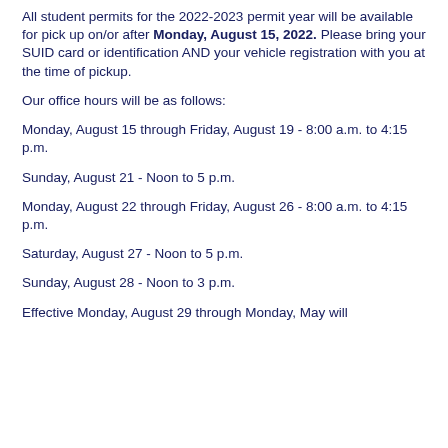All student permits for the 2022-2023 permit year will be available for pick up on/or after Monday, August 15, 2022. Please bring your SUID card or identification AND your vehicle registration with you at the time of pickup.
Our office hours will be as follows:
Monday, August 15 through Friday, August 19 - 8:00 a.m. to 4:15 p.m.
Sunday, August 21 - Noon to 5 p.m.
Monday, August 22 through Friday, August 26 - 8:00 a.m. to 4:15 p.m.
Saturday, August 27 - Noon to 5 p.m.
Sunday, August 28 - Noon to 3 p.m.
Effective Monday, August 29 through Monday, May will